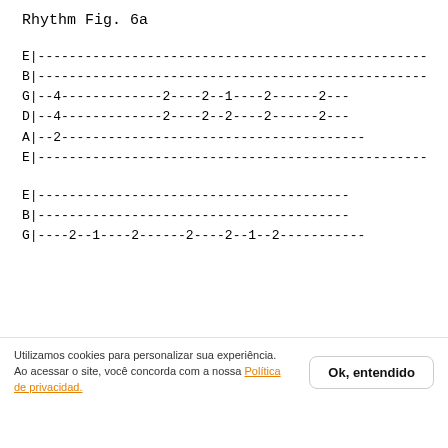Rhythm Fig. 6a
E|--------------------------------------------------
B|--------------------------------------------------
G|--4-------------2----2--1----2------2---
D|--4-------------2----2--2----2------2---
A|--2---------------------------------------
E|--------------------------------------------------
E|----------------------------------------
B|----------------------------------------
G|----2--1----2------2----2--1--2-----------
Utilizamos cookies para personalizar sua experiência. Ao acessar o site, você concorda com a nossa Política de privacidad.
Ok, entendido